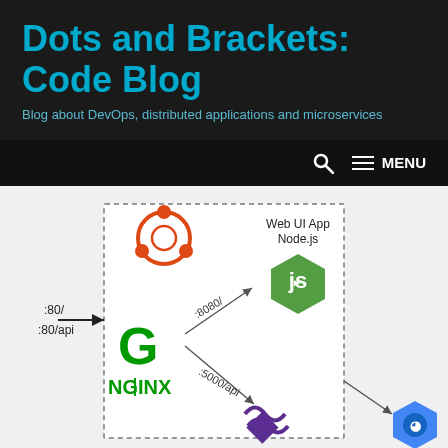Dots and Brackets: Code Blog
Blog about DevOps, distributed applications and microservices
[Figure (network-graph): Architecture diagram showing NGINX reverse proxy receiving requests on :80/ and :80/api, routing :8080/ to Web UI App Node.js (Node.js logo) and :5000/api to .NET API, which connects to Data Source Google BigQuery. Surrounded by Ubuntu logo. Contained in a dashed border box.]